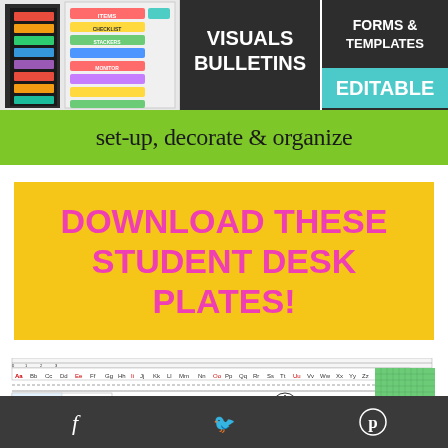[Figure (illustration): Top banner with classroom organization product images — colorful binder/sticker visuals on left, 'VISUALS BULLETINS' dark panel center, 'FORMS & TEMPLATES / EDITABLE' dark panel on right with teal editable badge]
set-up, decorate & organize
DOWNLOAD THESE STUDENT DESK PLATES!
[Figure (illustration): Student desk plate reference card showing alphabet Aa-Zz, number line 0-30, shapes, clock, coins, place value chart, hundreds grid, greater than/less than symbols, odd/even numbers]
f  (share icon)    (tweet icon)    p (pinterest icon)